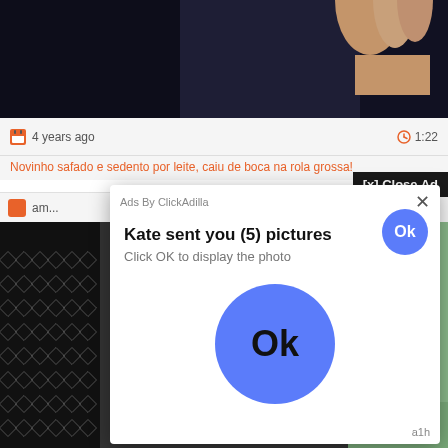[Figure (screenshot): Video player showing dark background with a hand/fingers visible at top right]
4 years ago
1:22
Novinho safado e sedento por leite, caiu de boca na rola grossa!
[x] Close Ad
am...  ai....
[Figure (screenshot): Ad popup overlay: 'Kate sent you (5) pictures - Click OK to display the photo' with Ok button and large blue Ok circle. Ads By ClickAdilla label. a1h watermark.]